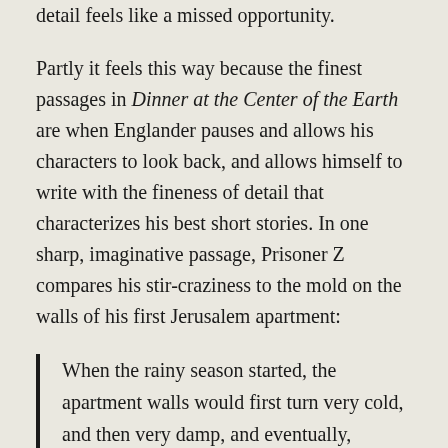detail feels like a missed opportunity.
Partly it feels this way because the finest passages in Dinner at the Center of the Earth are when Englander pauses and allows his characters to look back, and allows himself to write with the fineness of detail that characterizes his best short stories. In one sharp, imaginative passage, Prisoner Z compares his stir-craziness to the mold on the walls of his first Jerusalem apartment:
When the rainy season started, the apartment walls would first turn very cold, and then very damp, and eventually, battered and battered by the rain and the wind, they would bead up with moisture, never drying, as wet inside as out. It would get so bad, you could run your finger along them and scoop up the